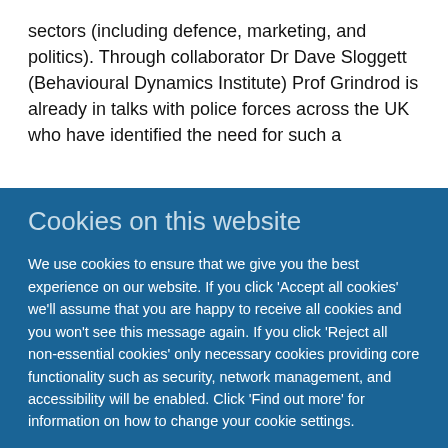sectors (including defence, marketing, and politics). Through collaborator Dr Dave Sloggett (Behavioural Dynamics Institute) Prof Grindrod is already in talks with police forces across the UK who have identified the need for such a
Cookies on this website
We use cookies to ensure that we give you the best experience on our website. If you click 'Accept all cookies' we'll assume that you are happy to receive all cookies and you won't see this message again. If you click 'Reject all non-essential cookies' only necessary cookies providing core functionality such as security, network management, and accessibility will be enabled. Click 'Find out more' for information on how to change your cookie settings.
Accept all cookies
Reject all non-essential cookies
Find out more